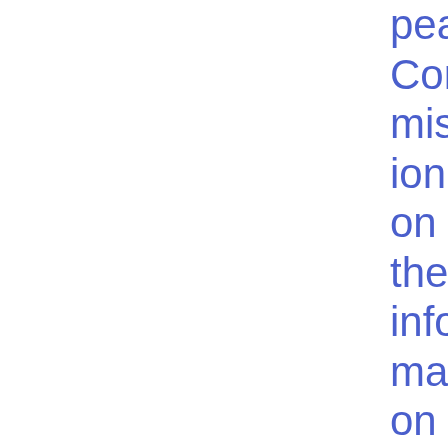pean Commission on the information that competent authorities should provide to ESMA